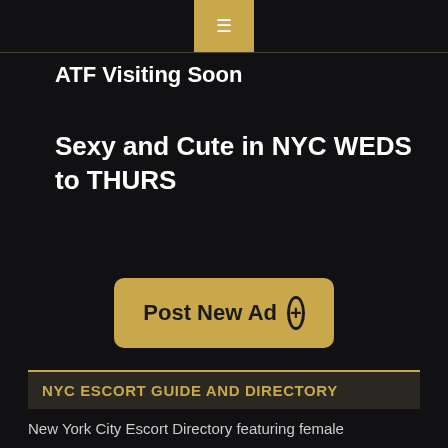≡
ATF Visiting Soon
Sexy and Cute in NYC WEDS to THURS
Post New Ad +
NYC ESCORT GUIDE AND DIRECTORY
New York City Escort Directory featuring female